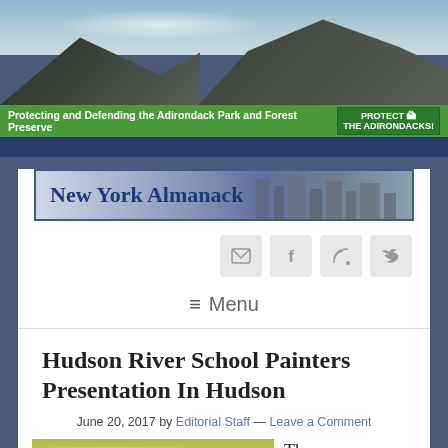[Figure (photo): Banner photo of Adirondack mountain landscape with sky and mountains]
Protecting and Defending the Adirondack Park and Forest Preserve   PROTECT THE ADIRONDACKS!
[Figure (logo): New York Almanack logo banner with city skyline background]
[Figure (infographic): Social media icon buttons: email, Facebook, RSS, Twitter]
≡ Menu
Hudson River School Painters Presentation In Hudson
June 20, 2017 by Editorial Staff — Leave a Comment
[Figure (photo): Painting of a landscape with sky, clouds, water, and a tree — Hudson River School style]
The